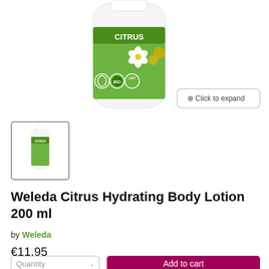[Figure (photo): Product photo of Weleda Citrus body lotion bottle with green label showing CITRUS text, botanical illustrations, BIO certification badge, and other certification logos. White bottle with pump/cap.]
[Figure (photo): Small thumbnail image of the Weleda Citrus body lotion bottle, shown in a bordered thumbnail box below the main product image.]
Weleda Citrus Hydrating Body Lotion 200 ml
by Weleda
€11,95
Quantity
Add to cart